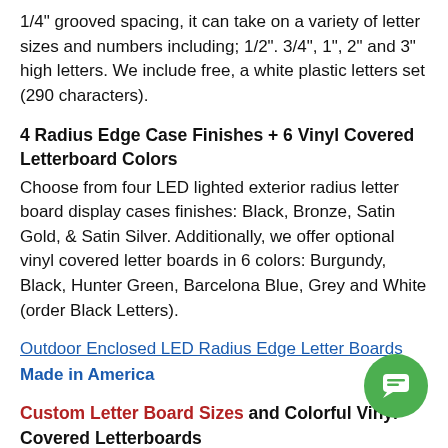1/4" grooved spacing, it can take on a variety of letter sizes and numbers including; 1/2". 3/4", 1", 2" and 3" high letters. We include free, a white plastic letters set (290 characters).
4 Radius Edge Case Finishes + 6 Vinyl Covered Letterboard Colors
Choose from four LED lighted exterior radius letter board display cases finishes: Black, Bronze, Satin Gold, & Satin Silver. Additionally, we offer optional vinyl covered letter boards in 6 colors: Burgundy, Black, Hunter Green, Barcelona Blue, Grey and White (order Black Letters).
Outdoor Enclosed LED Radius Edge Letter Boards
Made in America
Custom Letter Board Sizes and Colorful Vinyl Covered Letterboards
If you don't find the interior or exterior letter board size that meet your needs, give us your display case dimensions and we'll build it for you.
View All Standing and Wall Mount Enclosed Letter